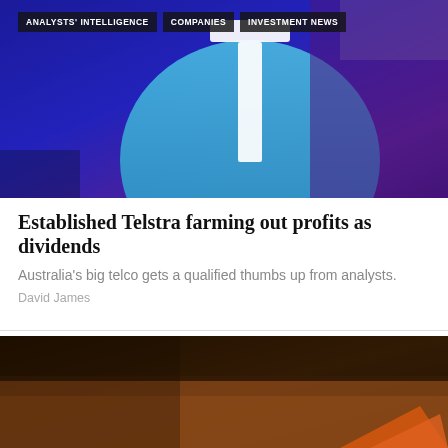[Figure (photo): Telstra logo sign, blue and purple background with white T logo]
ANALYSTS' INTELLIGENCE   COMPANIES   INVESTMENT NEWS
Established Telstra farming out profits as dividends
Australia's big telco gets a qualified thumbs up from analysts.
David James
[Figure (photo): Mining/earthworks scene with dirt and orange equipment]
BIG PICTURE   COMPANIES   GLOBAL MARKETS   GOLD   MACRO TRENDS   ANALYSTS' INTELLIGENCE   CURRENCIES & COMMODITIES